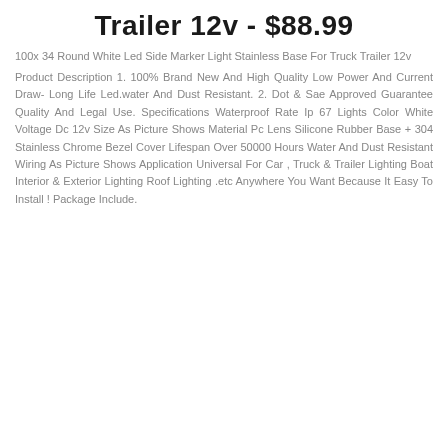Trailer 12v - $88.99
100x 34 Round White Led Side Marker Light Stainless Base For Truck Trailer 12v
Product Description 1. 100% Brand New And High Quality Low Power And Current Draw- Long Life Led.water And Dust Resistant. 2. Dot & Sae Approved Guarantee Quality And Legal Use. Specifications Waterproof Rate Ip 67 Lights Color White Voltage Dc 12v Size As Picture Shows Material Pc Lens Silicone Rubber Base + 304 Stainless Chrome Bezel Cover Lifespan Over 50000 Hours Water And Dust Resistant Wiring As Picture Shows Application Universal For Car , Truck & Trailer Lighting Boat Interior & Exterior Lighting Roof Lighting .etc Anywhere You Want Because It Easy To Install ! Package Include.